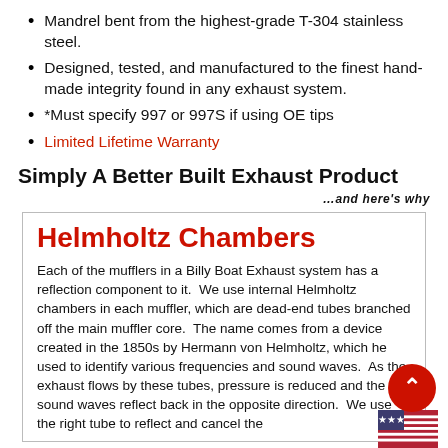Mandrel bent from the highest-grade T-304 stainless steel.
Designed, tested, and manufactured to the finest hand-made integrity found in any exhaust system.
*Must specify 997 or 997S if using OE tips
Limited Lifetime Warranty
Simply A Better Built Exhaust Product
…and here's why
Helmholtz Chambers
Each of the mufflers in a Billy Boat Exhaust system has a reflection component to it.  We use internal Helmholtz chambers in each muffler, which are dead-end tubes branched off the main muffler core.  The name comes from a device created in the 1850s by Hermann von Helmholtz, which he used to identify various frequencies and sound waves.  As the exhaust flows by these tubes, pressure is reduced and the sound waves reflect back in the opposite direction.  We use the right tube to reflect and cancel the